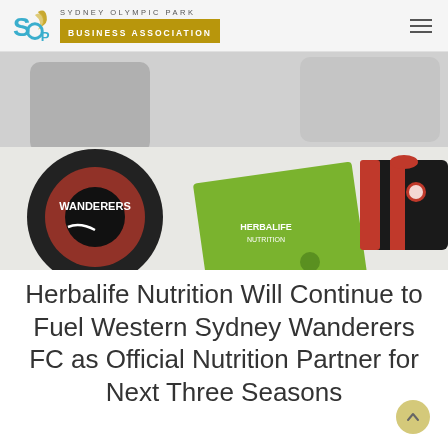SOP Sydney Olympic Park Business Association
[Figure (photo): Photo of a table with a Wanderers branded soccer ball on the left, a green Herbalife Nutrition folder/booklet in the center, and a red and black Wanderers FC jersey on the right. Two people are partially visible in the background appearing to sign documents.]
Herbalife Nutrition Will Continue to Fuel Western Sydney Wanderers FC as Official Nutrition Partner for Next Three Seasons